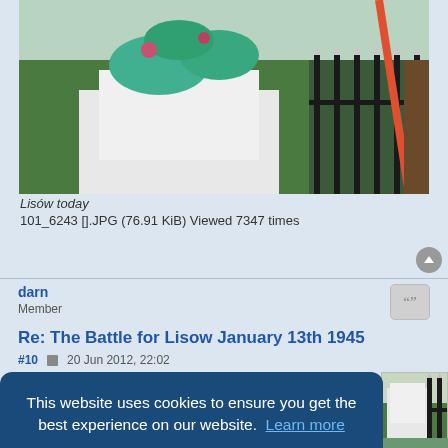[Figure (photo): Photo of Lisów today — a white monument or structure decorated with floral arrangements, surrounded by iron fence with pointed tops and green trees in the background.]
Lisów today
101_6243 [].JPG (76.91 KiB) Viewed 7347 times
darn
Member
Re: The Battle for Lisow January 13th 1945
#10  20 Jun 2012, 22:02
This website uses cookies to ensure you get the best experience on our website.  Learn more
Got it!
[Figure (photo): Partial bottom photo showing a similar monument scene with iron fence and greenery.]